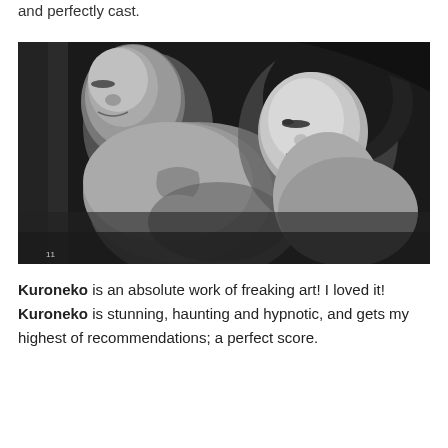and perfectly cast.
[Figure (photo): Black and white photograph of a man and woman lying down with eyes closed, the woman resting her head on the man's chest. The image appears to be a still from the Japanese film Kuroneko.]
Kuroneko is an absolute work of freaking art! I loved it! Kuroneko is stunning, haunting and hypnotic, and gets my highest of recommendations; a perfect score.